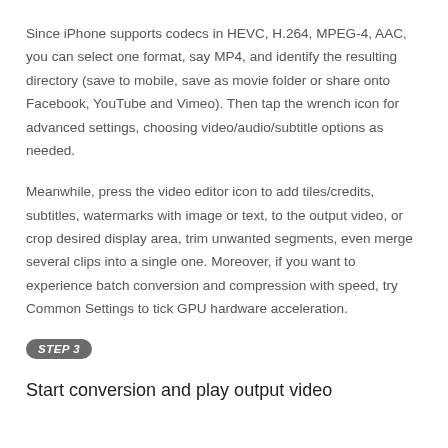Since iPhone supports codecs in HEVC, H.264, MPEG-4, AAC, you can select one format, say MP4, and identify the resulting directory (save to mobile, save as movie folder or share onto Facebook, YouTube and Vimeo). Then tap the wrench icon for advanced settings, choosing video/audio/subtitle options as needed.
Meanwhile, press the video editor icon to add tiles/credits, subtitles, watermarks with image or text, to the output video, or crop desired display area, trim unwanted segments, even merge several clips into a single one. Moreover, if you want to experience batch conversion and compression with speed, try Common Settings to tick GPU hardware acceleration.
STEP 3
Start conversion and play output video